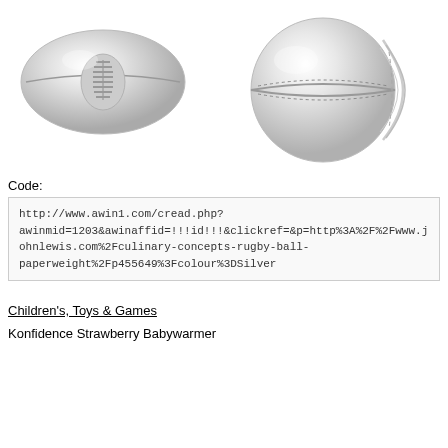[Figure (photo): Silver rugby ball paperweight on left, silver cricket ball paperweight on right]
Code:
http://www.awin1.com/cread.php?awinmid=1203&awinaffid=!!!id!!!&clickref=&p=http%3A%2F%2Fwww.johnlewis.com%2Fculinary-concepts-rugby-ball-paperweight%2Fp455649%3Fcolour%3DSilver
Children's, Toys & Games
Konfidence Strawberry Babywarmer